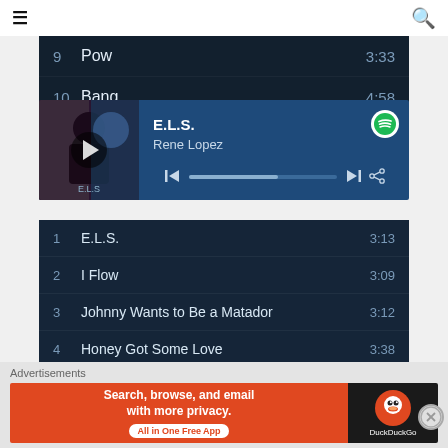☰  🔍
| # | Track | Duration |
| --- | --- | --- |
| 9 | Pow | 3:33 |
| 10 | Bang | 4:58 |
[Figure (screenshot): Spotify music player widget showing E.L.S. by Rene Lopez with play button, progress bar, skip and share controls]
| # | Track | Duration |
| --- | --- | --- |
| 1 | E.L.S. | 3:13 |
| 2 | I Flow | 3:09 |
| 3 | Johnny Wants to Be a Matador | 3:12 |
| 4 | Honey Got Some Love | 3:38 |
| 5 | Fa La La De Fa La La | 4:26 |
| 6 | Puerto Ricans in America | 3:17 |
Advertisements
[Figure (screenshot): DuckDuckGo advertisement banner: Search, browse, and email with more privacy. All in One Free App. DuckDuckGo logo on right.]